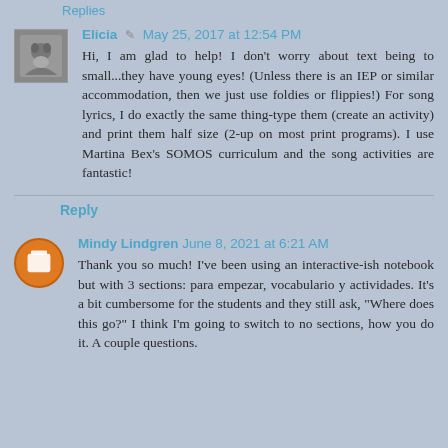Replies
Elicia • May 25, 2017 at 12:54 PM
Hi, I am glad to help! I don't worry about text being to small...they have young eyes! (Unless there is an IEP or similar accommodation, then we just use foldies or flippies!) For song lyrics, I do exactly the same thing-type them (create an activity) and print them half size (2-up on most print programs). I use Martina Bex's SOMOS curriculum and the song activities are fantastic!
Reply
Mindy Lindgren June 8, 2021 at 6:21 AM
Thank you so much! I've been using an interactive-ish notebook but with 3 sections: para empezar, vocabulario y actividades. It's a bit cumbersome for the students and they still ask, "Where does this go?" I think I'm going to switch to no sections, how you do it. A couple questions.